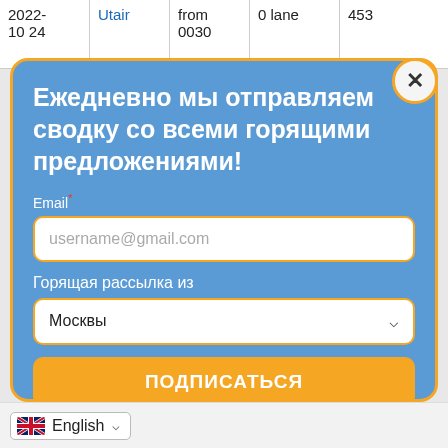| 2022-10-24 | Utair | from 0030 | 0 lane | 453 |
[Figure (screenshot): Modal dialog with orange border on blue background. Contains headline in Russian, email input field, city dropdown selector, and subscribe button. A close (X) button is top right.]
Ежедневно мы отправляем сводку со всеми горящими предложениями!
Email*
username@gmail.com
Горящая рассылка из
Москвы
ПОДПИСАТЬСЯ
English